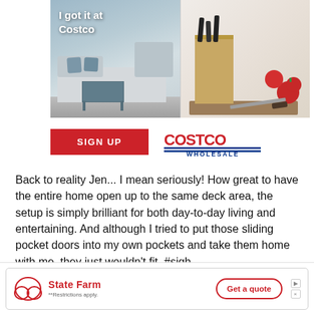[Figure (photo): Costco advertisement showing outdoor patio furniture on the left half and a knife block set with tomatoes and cutting board on the right half. Text overlay reads 'I got it at Costco']
[Figure (other): Red 'SIGN UP' button next to Costco Wholesale logo]
Back to reality Jen... I mean seriously!  How great to have the entire home open up to the same deck area, the setup is simply brilliant for both day-to-day living and entertaining.  And although I tried to put those sliding pocket doors into my own pockets and take them home with me, they just wouldn't fit.  #sigh #needdeeperpockets
[Figure (other): State Farm advertisement banner at bottom. Shows State Farm logo with three ovals, text 'State Farm', '**Restrictions apply.', forward/close icons, and a 'Get a quote' button.]
One thi... ng focal wall to t... ment!